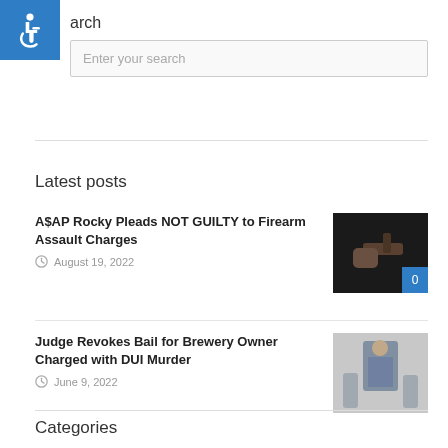[Figure (logo): Blue accessibility icon with wheelchair symbol]
arch
Enter your search
Latest posts
A$AP Rocky Pleads NOT GUILTY to Firearm Assault Charges
August 19, 2022
[Figure (photo): Dark photo of a hand holding a gun]
Judge Revokes Bail for Brewery Owner Charged with DUI Murder
June 9, 2022
[Figure (photo): Photo of a man in plaid shirt standing near brewery equipment]
Categories